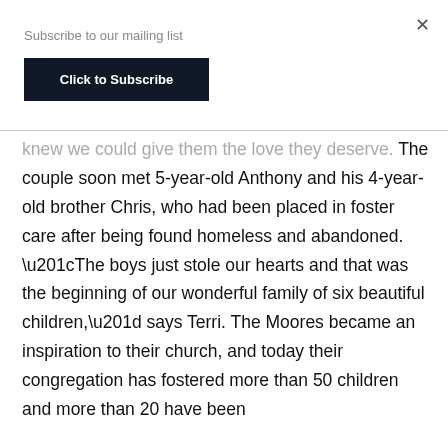Subscribe to our mailing list
Click to Subscribe
knew we could give them the love they deserve. The couple soon met 5-year-old Anthony and his 4-year-old brother Chris, who had been placed in foster care after being found homeless and abandoned. “The boys just stole our hearts and that was the beginning of our wonderful family of six beautiful children,” says Terri. The Moores became an inspiration to their church, and today their congregation has fostered more than 50 children and more than 20 have been